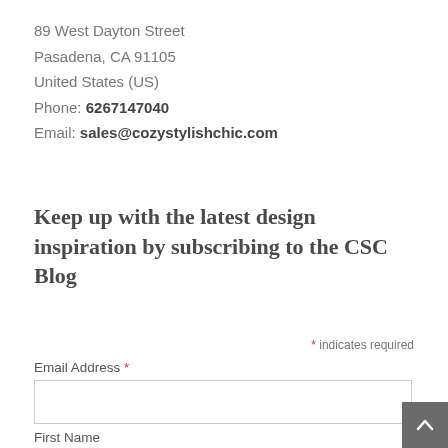89 West Dayton Street
Pasadena, CA 91105
United States (US)
Phone: 6267147040
Email: sales@cozystylishchic.com
Keep up with the latest design inspiration by subscribing to the CSC Blog
* indicates required
Email Address *
First Name